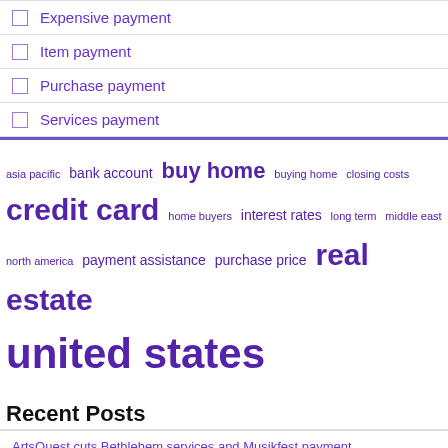Expensive payment
Item payment
Purchase payment
Services payment
[Figure (infographic): Tag cloud with financial/real estate terms in purple at varying font sizes: asia pacific, bank account, buy home, buying home, closing costs, credit card, home buyers, interest rates, long term, middle east, north america, payment assistance, purchase price, real estate, united states]
Recent Posts
ArtsQuest cuts Bethlehem services and Musikfest payment
Business news live today: latest economic news, market news, economic and financial news
CERiS White Paper Highlights the Benefits of Pre-Payment Claim Review | New